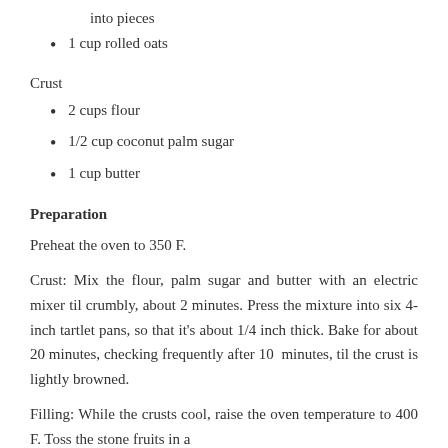into pieces
1 cup rolled oats
Crust
2 cups flour
1/2 cup coconut palm sugar
1 cup butter
Preparation
Preheat the oven to 350 F.
Crust: Mix the flour, palm sugar and butter with an electric mixer til crumbly, about 2 minutes. Press the mixture into six 4-inch tartlet pans, so that it's about 1/4 inch thick. Bake for about 20 minutes, checking frequently after 10  minutes, til the crust is lightly browned.
Filling: While the crusts cool, raise the oven temperature to 400 F. Toss the stone fruits in a